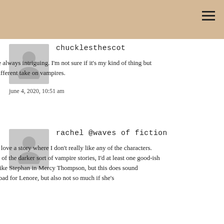chucklesthescot
Dark vampires are always intriguing. I'm not sure if it's my kind of thing but it's nice to see a different take on vampires.
june 4, 2020, 10:51 am
rachel @waves of fiction
It's hard for me to love a story where I don't really like any of the characters. I'm not a huge fan of the darker sort of vampire stories, I'd at least one good-ish kind of vampire, like Stephan in Mercy Thompson, but this does sound interesting. I feel bad for Lenore, but also not so much if she's